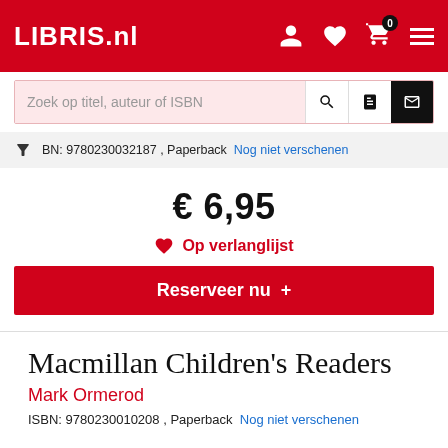LIBRIS.nl
Zoek op titel, auteur of ISBN
BN: 9780230032187 , Paperback  Nog niet verschenen
€ 6,95
Op verlanglijst
Reserveer nu +
Macmillan Children's Readers
Mark Ormerod
ISBN: 9780230010208 , Paperback  Nog niet verschenen